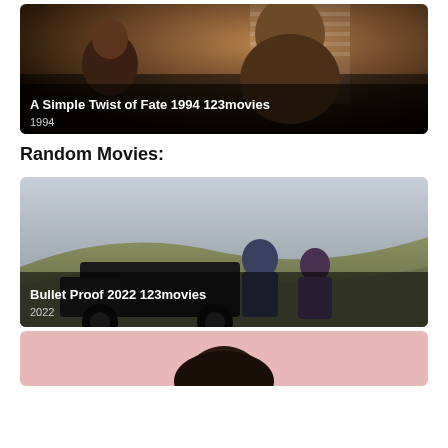[Figure (photo): Movie thumbnail for 'A Simple Twist of Fate 1994 123movies' showing an older man with a young child in a dark indoor scene. Overlay text shows title and year 1994.]
Random Movies:
[Figure (photo): Movie thumbnail for 'Bullet Proof 2022 123movies' showing a man and woman standing outdoors next to a truck with hills in the background. Overlay text shows title and year 2022.]
[Figure (photo): Partial movie thumbnail showing a person with dark hair against a pink background, cropped at page bottom.]